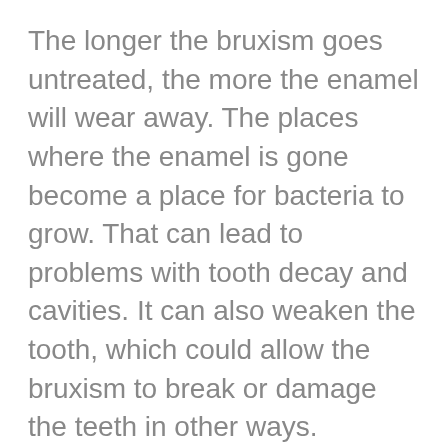The longer the bruxism goes untreated, the more the enamel will wear away. The places where the enamel is gone become a place for bacteria to grow. That can lead to problems with tooth decay and cavities. It can also weaken the tooth, which could allow the bruxism to break or damage the teeth in other ways.
There are many ways to treat bruxism and prevent the damage to the teeth and enamel. It does not require much and can provide big benefits.
For more information about this or any other oral health issue, contact our office to schedule an appointment.